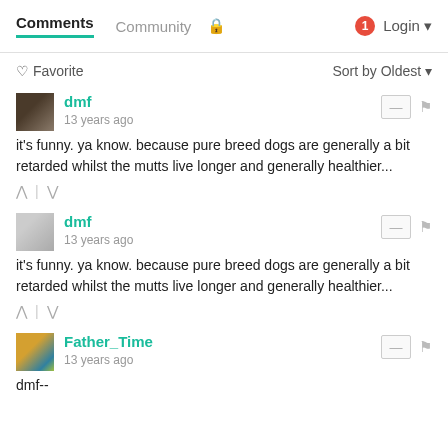Comments | Community | Login
♡ Favorite   Sort by Oldest ▾
dmf
13 years ago
it's funny. ya know. because pure breed dogs are generally a bit retarded whilst the mutts live longer and generally healthier...
dmf
13 years ago
it&#39s funny. ya know. because pure breed dogs are generally a bit retarded whilst the mutts live longer and generally healthier...
Father_Time
13 years ago
dmf--